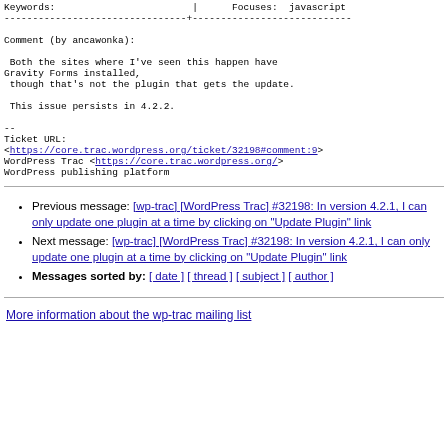Keywords:                        |      Focuses:  javascript
--------------------------------+----------------------------

Comment (by ancawonka):

 Both the sites where I've seen this happen have
Gravity Forms installed,
 though that's not the plugin that gets the update.

 This issue persists in 4.2.2.

--
Ticket URL:
<https://core.trac.wordpress.org/ticket/32198#comment:9>
WordPress Trac <https://core.trac.wordpress.org/>
WordPress publishing platform
Previous message: [wp-trac] [WordPress Trac] #32198: In version 4.2.1, I can only update one plugin at a time by clicking on "Update Plugin" link
Next message: [wp-trac] [WordPress Trac] #32198: In version 4.2.1, I can only update one plugin at a time by clicking on "Update Plugin" link
Messages sorted by: [ date ] [ thread ] [ subject ] [ author ]
More information about the wp-trac mailing list